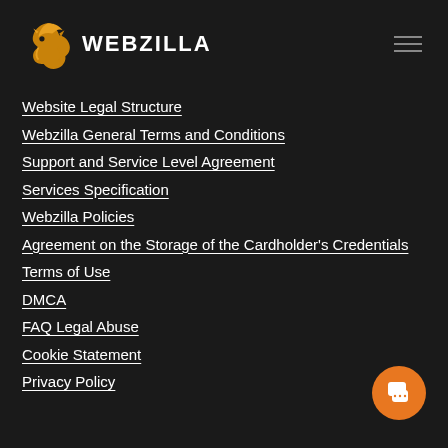WEBZILLA
Website Legal Structure
Webzilla General Terms and Conditions
Support and Service Level Agreement
Services Specification
Webzilla Policies
Agreement on the Storage of the Cardholder's Credentials
Terms of Use
DMCA
FAQ Legal Abuse
Cookie Statement
Privacy Policy